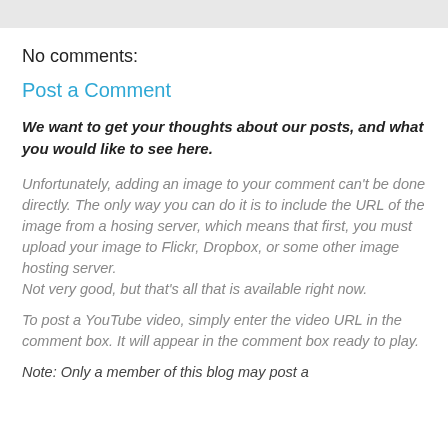No comments:
Post a Comment
We want to get your thoughts about our posts, and what you would like to see here.
Unfortunately, adding an image to your comment can't be done directly. The only way you can do it is to include the URL of the image from a hosing server, which means that first, you must upload your image to Flickr, Dropbox, or some other image hosting server.
Not very good, but that's all that is available right now.
To post a YouTube video, simply enter the video URL in the comment box. It will appear in the comment box ready to play.
Note: Only a member of this blog may post a